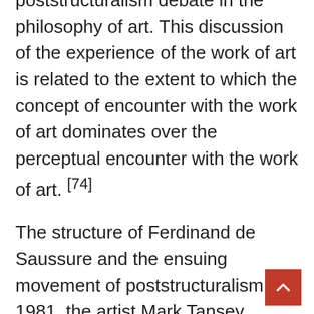poststructuralism debate in the philosophy of art. This discussion of the experience of the work of art is related to the extent to which the concept of encounter with the work of art dominates over the perceptual encounter with the work of art. [74]
The structure of Ferdinand de Saussure and the ensuing movement of poststructuralism . In 1981, the artist Mark Tansey created a work of art titled “The Innocent Eye” as a criticism of the prevailing climate of disagreement in the philosophy of art during the closing decades of the 20th century. Influential theorists include Judith Butler , Luce Irigaray , Julia Kristeva , Michel Foucault and Jacques Derrida. The power of language, more specific of certain rhetorical